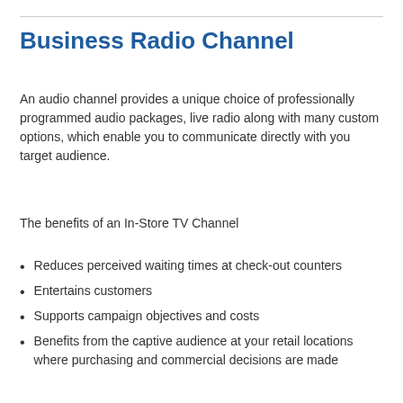Business Radio Channel
An audio channel provides a unique choice of professionally programmed audio packages, live radio along with many custom options, which enable you to communicate directly with you target audience.
The benefits of an In-Store TV Channel
Reduces perceived waiting times at check-out counters
Entertains customers
Supports campaign objectives and costs
Benefits from the captive audience at your retail locations where purchasing and commercial decisions are made